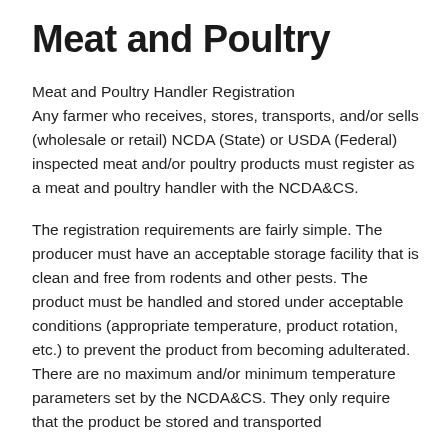Meat and Poultry
Meat and Poultry Handler Registration
Any farmer who receives, stores, transports, and/or sells (wholesale or retail) NCDA (State) or USDA (Federal) inspected meat and/or poultry products must register as a meat and poultry handler with the NCDA&CS.
The registration requirements are fairly simple. The producer must have an acceptable storage facility that is clean and free from rodents and other pests. The product must be handled and stored under acceptable conditions (appropriate temperature, product rotation, etc.) to prevent the product from becoming adulterated. There are no maximum and/or minimum temperature parameters set by the NCDA&CS. They only require that the product be stored and transported